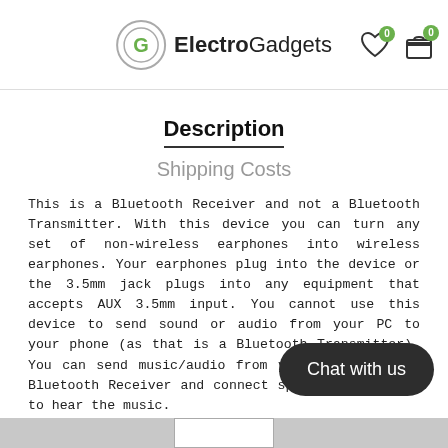ElectroGadgets
Description
Shipping Costs
This is a Bluetooth Receiver and not a Bluetooth Transmitter. With this device you can turn any set of non-wireless earphones into wireless earphones. Your earphones plug into the device or the 3.5mm jack plugs into any equipment that accepts AUX 3.5mm input. You cannot use this device to send sound or audio from your PC to your phone (as that is a Bluetooth Transmitter). You can send music/audio from your phone to the Bluetooth Receiver and connect speakers/earphones to hear the music.